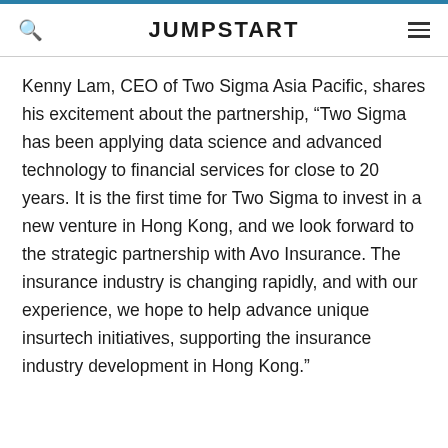JUMPSTART
Kenny Lam, CEO of Two Sigma Asia Pacific, shares his excitement about the partnership, “Two Sigma has been applying data science and advanced technology to financial services for close to 20 years. It is the first time for Two Sigma to invest in a new venture in Hong Kong, and we look forward to the strategic partnership with Avo Insurance. The insurance industry is changing rapidly, and with our experience, we hope to help advance unique insurtech initiatives, supporting the insurance industry development in Hong Kong.”